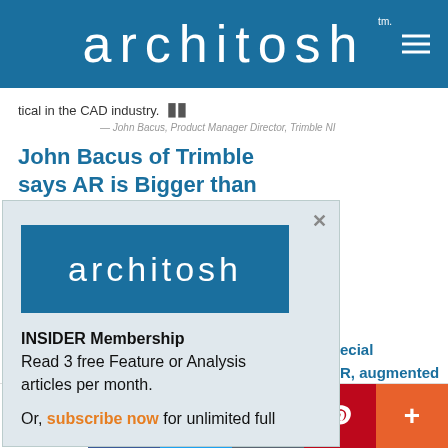architosh™
tical in the CAD industry.
— John Bacus, Product Manager Director, Trimble NI
John Bacus of Trimble says AR is Bigger than
[Figure (screenshot): Modal popup with architosh logo and INSIDER Membership offer: Read 3 free Feature or Analysis articles per month. Or, subscribe now for unlimited full access.]
ecial R, augmented nium, virtual
2 SHARES  [Facebook] [Twitter] [Email] [Pinterest] [More]